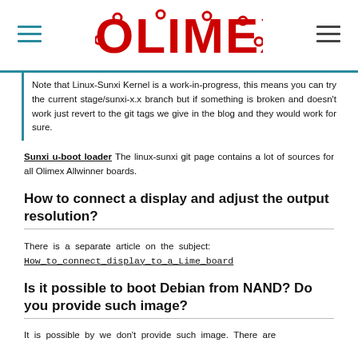OLIMEX (logo)
Note that Linux-Sunxi Kernel is a work-in-progress, this means you can try the current stage/sunxi-x.x branch but if something is broken and doesn't work just revert to the git tags we give in the blog and they would work for sure.
Sunxi u-boot loader The linux-sunxi git page contains a lot of sources for all Olimex Allwinner boards.
How to connect a display and adjust the output resolution?
There is a separate article on the subject: How_to_connect_display_to_a_Lime_board
Is it possible to boot Debian from NAND? Do you provide such image?
It is possible by we don't provide such image. There are